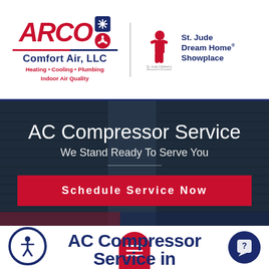[Figure (logo): ARCO Comfort Air LLC logo with snowflake and fan icons, red and blue colors, with tagline Heating Cooling Plumbing Indoor Air Quality]
[Figure (logo): St. Jude Children's Research Hospital - St. Jude Dream Home Showplace logo]
AC Compressor Service
We Stand Ready To Serve You
Schedule Service Now
[Figure (photo): Background photo of AC compressor / HVAC outdoor units]
AC Compressor Service in